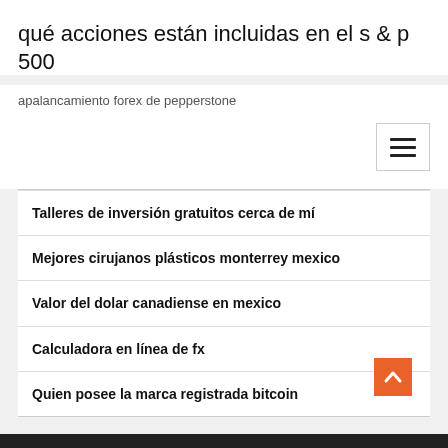qué acciones están incluidas en el s & p 500
apalancamiento forex de pepperstone
Talleres de inversión gratuitos cerca de mí
Mejores cirujanos plásticos monterrey mexico
Valor del dolar canadiense en mexico
Calculadora en línea de fx
Quien posee la marca registrada bitcoin